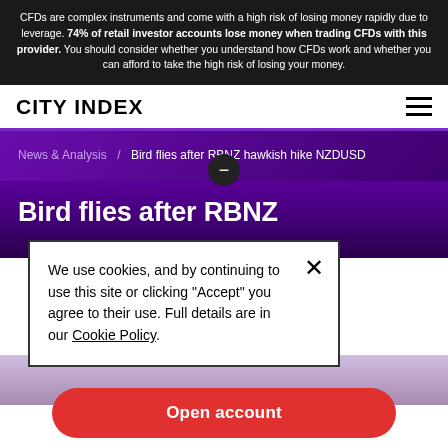CFDs are complex instruments and come with a high risk of losing money rapidly due to leverage. 74% of retail investor accounts lose money when trading CFDs with this provider. You should consider whether you understand how CFDs work and whether you can afford to take the high risk of losing your money.
CITY INDEX
News & Analysis / Bird flies after RBNZ hawkish hike NZDUSD
Bird flies after RBNZ
We use cookies, and by continuing to use this site or clicking "Accept" you agree to their use. Full details are in our Cookie Policy.
Open account